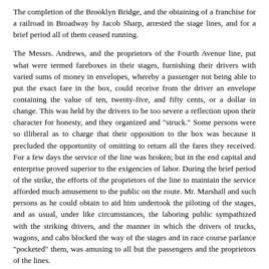The completion of the Brooklyn Bridge, and the obtaining of a franchise for a railroad in Broadway by Jacob Sharp, arrested the stage lines, and for a brief period all of them ceased running.
The Messrs. Andrews, and the proprietors of the Fourth Avenue line, put what were termed fareboxes in their stages, furnishing their drivers with varied sums of money in envelopes, whereby a passenger not being able to put the exact fare in the box, could receive from the driver an envelope containing the value of ten, twenty-five, and fifty cents, or a dollar in change. This was held by the drivers to be too severe a reflection upon their character for honesty, and they organized and "struck." Some persons were so illiberal as to charge that their opposition to the box was because it precluded the opportunity of omitting to return all the fares they received. For a few days the service of the line was broken; but in the end capital and enterprise proved superior to the exigencies of labor. During the brief period of the strike, the efforts of the proprietors of the line to maintain the service afforded much amusement to the public on the route. Mr. Marshall and such persons as he could obtain to aid him undertook the piloting of the stages, and as usual, under like circumstances, the laboring public sympathized with the striking drivers, and the manner in which the drivers of trucks, wagons, and cabs blocked the way of the stages and in race course parlance "pocketed" them, was amusing to all but the passengers and the proprietors of the lines.
The fares of the various lines gradually dropped from 25, 12-1/2 10, to 61/4 cents. Later the disappearance of the sixpences (6.25 cents), in consequence of the arrest of specie payments at the beginning of the war, had rendered the 6cent fare so very inconvenient that it was reduced to 5 cents. About 1830 the service of the Brower line was increased by the addition of fourhorse vehicles, with a boy collector of the fares (121/2 cents) seated on the outside.